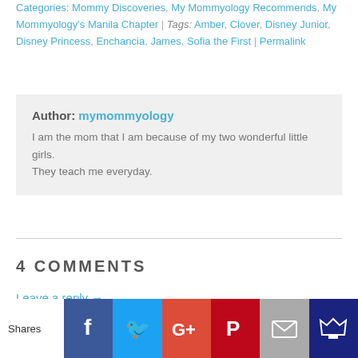Categories: Mommy Discoveries, My Mommyology Recommends, My Mommyology's Manila Chapter | Tags: Amber, Clover, Disney Junior, Disney Princess, Enchancia, James, Sofia the First | Permalink
Author: mymommyology
I am the mom that I am because of my two wonderful little girls. They teach me everyday.
4 COMMENTS
Leave a reply →
[Figure (infographic): Social share bar with Facebook, Twitter, Google+, Pinterest, Email, and crown/bookmark buttons]